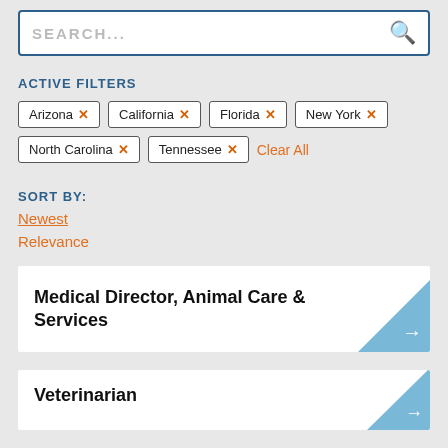SEARCH...
ACTIVE FILTERS
Arizona ×
California ×
Florida ×
New York ×
North Carolina ×
Tennessee ×
Clear All
SORT BY:
Newest
Relevance
Medical Director, Animal Care & Services
Veterinarian